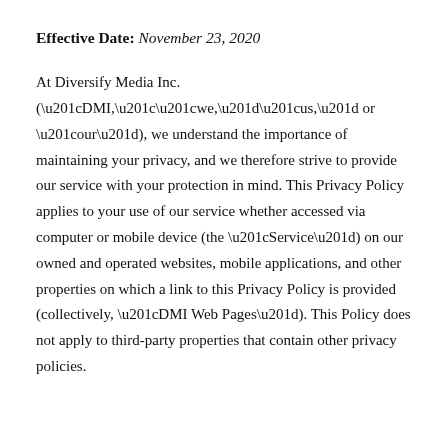Effective Date: November 23, 2020
At Diversify Media Inc. (“DMI,““we,”“us,” or “our”), we understand the importance of maintaining your privacy, and we therefore strive to provide our service with your protection in mind. This Privacy Policy applies to your use of our service whether accessed via computer or mobile device (the “Service”) on our owned and operated websites, mobile applications, and other properties on which a link to this Privacy Policy is provided (collectively, “DMI Web Pages”). This Policy does not apply to third-party properties that contain other privacy policies.